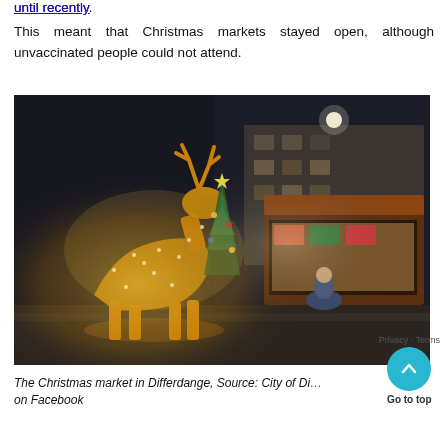until recently.
This meant that Christmas markets stayed open, although unvaccinated people could not attend.
[Figure (photo): Christmas market scene at night showing a large illuminated reindeer sculpture made of lights, Christmas tree, and market stalls with people browsing. A person crouches near a stall. Buildings visible in background.]
The Christmas market in Differdange, Source: City of Di[fferdange] on Facebook